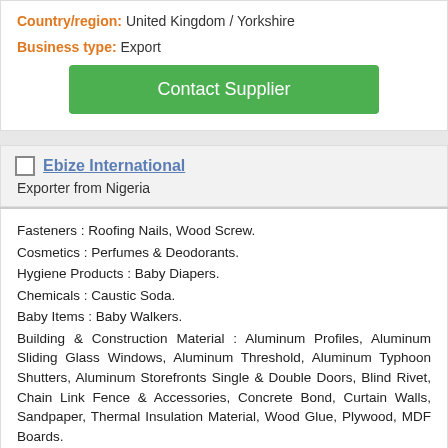Country/region: United Kingdom / Yorkshire
Business type: Export
Contact Supplier
Ebize International
Exporter from Nigeria
Fasteners : Roofing Nails, Wood Screw. Cosmetics : Perfumes & Deodorants. Hygiene Products : Baby Diapers. Chemicals : Caustic Soda. Baby Items : Baby Walkers. Building & Construction Material : Aluminum Profiles, Aluminum Sliding Glass Windows, Aluminum Threshold, Aluminum Typhoon Shutters, Aluminum Storefronts Single & Double Doors, Blind Rivet, Chain Link Fence & Accessories, Concrete Bond, Curtain Walls, Sandpaper, Thermal Insulation Material, Wood Glue, Plywood, MDF Boards. Computer Components : Bluetooth Dongle, CD-R, Headphones, Keyboards, LCD Monitors, MP3, MP4, ipod, Mouse, Multimedia